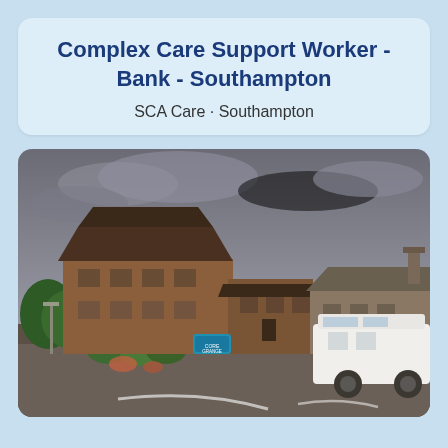Complex Care Support Worker - Bank - Southampton
SCA Care · Southampton
[Figure (photo): Street-level photograph of a brick care home building called 'Core Grange', two storeys high with peaked roofs, surrounded by greenery and shrubs. A white van is parked in the foreground on a brick-paved driveway. Overcast sky in the background.]